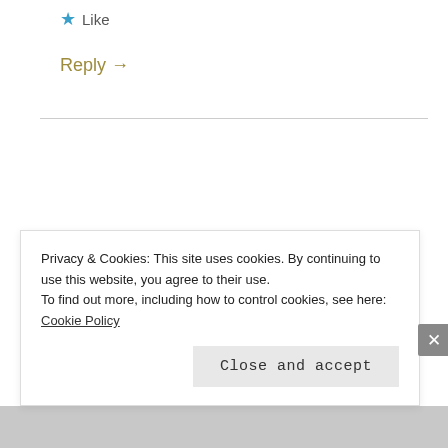★ Like
Reply →
KATHRYN COOPER
January 7, 2013 at 3:38 pm
Dazzling Mage- It's pretty newly released. The cover really caught my attention.
Privacy & Cookies: This site uses cookies. By continuing to use this website, you agree to their use. To find out more, including how to control cookies, see here: Cookie Policy
Close and accept